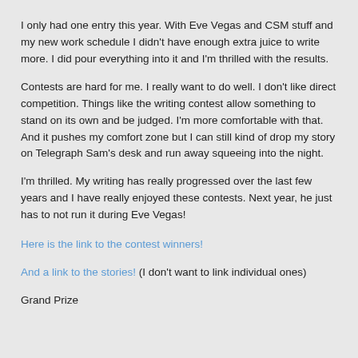I only had one entry this year. With Eve Vegas and CSM stuff and my new work schedule I didn't have enough extra juice to write more. I did pour everything into it and I'm thrilled with the results.
Contests are hard for me. I really want to do well. I don't like direct competition. Things like the writing contest allow something to stand on its own and be judged. I'm more comfortable with that. And it pushes my comfort zone but I can still kind of drop my story on Telegraph Sam's desk and run away squeeing into the night.
I'm thrilled. My writing has really progressed over the last few years and I have really enjoyed these contests. Next year, he just has to not run it during Eve Vegas!
Here is the link to the contest winners!
And a link to the stories! (I don't want to link individual ones)
Grand Prize